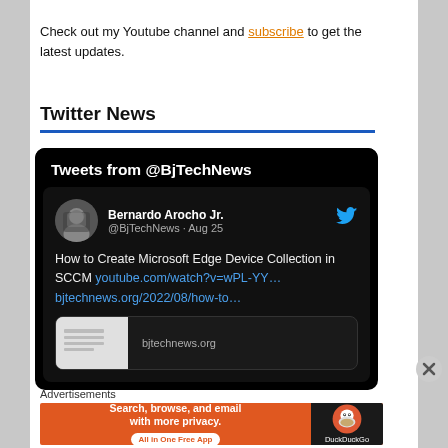Check out my Youtube channel and subscribe to get the latest updates.
Twitter News
[Figure (screenshot): Embedded Twitter widget showing tweets from @BjTechNews. Contains a tweet by Bernardo Arocho Jr. (@BjTechNews · Aug 25) reading: 'How to Create Microsoft Edge Device Collection in SCCM youtube.com/watch?v=wPL-YY… bjtechnews.org/2022/08/how-to…' with a link preview showing bjtechnews.org]
[Figure (screenshot): DuckDuckGo advertisement banner with orange background. Text: 'Search, browse, and email with more privacy. All in One Free App'. DuckDuckGo duck logo on the right side.]
Advertisements